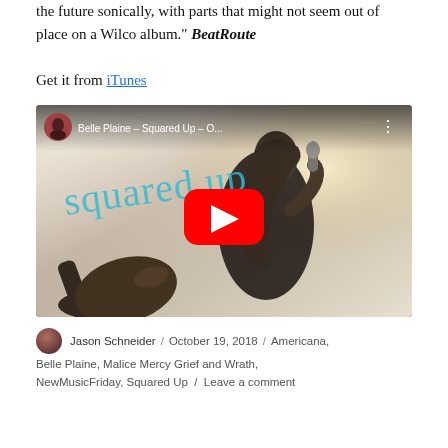the future sonically, with parts that might not seem out of place on a Wilco album." BeatRoute
Get it from iTunes
[Figure (screenshot): YouTube video thumbnail for Belle Plaine – Squared Up – O... showing a woman playing guitar with cursive 'squared up' text overlay and YouTube play button]
Jason Schneider / October 19, 2018 / Americana, Belle Plaine, Malice Mercy Grief and Wrath, NewMusicFriday, Squared Up / Leave a comment